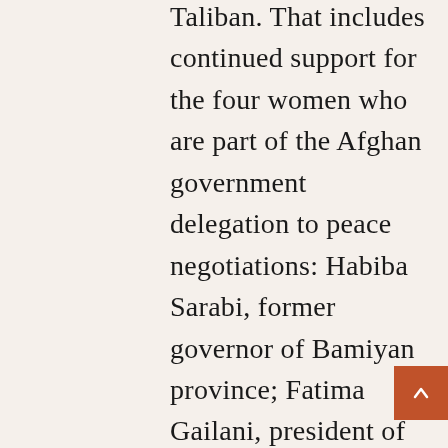Taliban. That includes continued support for the four women who are part of the Afghan government delegation to peace negotiations: Habiba Sarabi, former governor of Bamiyan province; Fatima Gailani, president of the Afghan Crescent Society; Sharifa Zurmati Wardak, a journalist and former member of the Afghan Independent Election Commission; and Fawzia Koofi, a member of the Afghan Parliament. They are emblematic of women leaders and advocates in Afghanistan: smart, committed, and dedicated to building a strong future for all